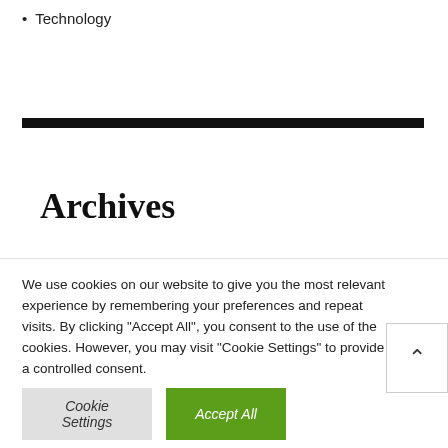Technology
Archives
We use cookies on our website to give you the most relevant experience by remembering your preferences and repeat visits. By clicking “Accept All”, you consent to the use of the cookies. However, you may visit "Cookie Settings" to provide a controlled consent.